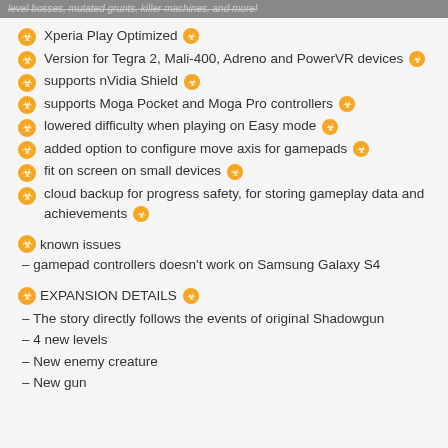level bosses, mutated grunts, killer machines, and more!
Xperia Play Optimized
Version for Tegra 2, Mali-400, Adreno and PowerVR devices
supports nVidia Shield
supports Moga Pocket and Moga Pro controllers
lowered difficulty when playing on Easy mode
added option to configure move axis for gamepads
fit on screen on small devices
cloud backup for progress safety, for storing gameplay data and achievements
known issues
– gamepad controllers doesn't work on Samsung Galaxy S4
EXPANSION DETAILS
– The story directly follows the events of original Shadowgun
– 4 new levels
– New enemy creature
– New gun